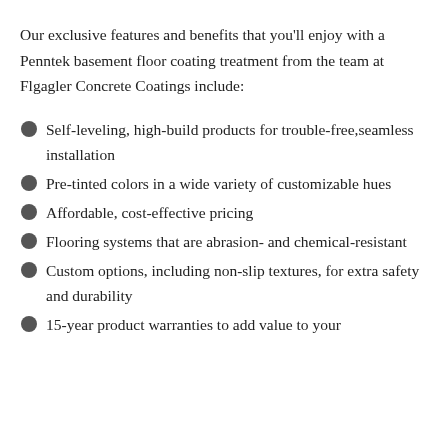Our exclusive features and benefits that you’ll enjoy with a Penntek basement floor coating treatment from the team at Flgagler Concrete Coatings include:
Self-leveling, high-build products for trouble-free,seamless installation
Pre-tinted colors in a wide variety of customizable hues
Affordable, cost-effective pricing
Flooring systems that are abrasion- and chemical-resistant
Custom options, including non-slip textures, for extra safety and durability
15-year product warranties to add value to your